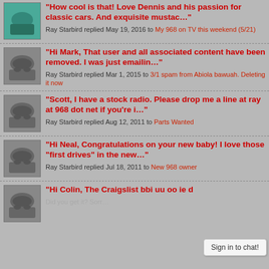"How cool is that! Love Dennis and his passion for classic cars. And exquisite mustac…" Ray Starbird replied May 19, 2016 to My 968 on TV this weekend (5/21)
"Hi Mark, That user and all associated content have been removed.  I was just emailin…" Ray Starbird replied Mar 1, 2015 to 3/1 spam from Abiola bawuah. Deleting it now
"Scott, I have a stock radio. Please drop me a line at ray at 968 dot net if you're i…" Ray Starbird replied Aug 12, 2011 to Parts Wanted
"Hi Neal,   Congratulations on your new baby!  I love those "first drives" in the new…" Ray Starbird replied Jul 18, 2011 to New 968 owner
"Hi Colin,   The Craigslist... Sign in to chat!